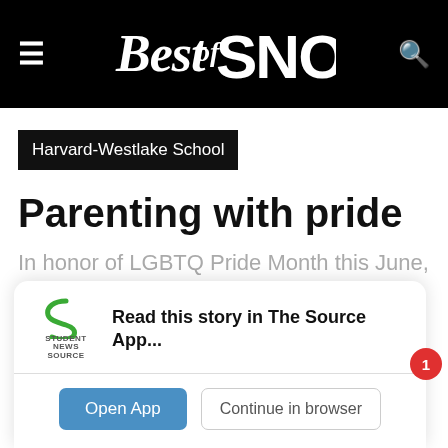Best of SNO
Harvard-Westlake School
Parenting with pride
In honor of LGBTQ Pride Month this June, students with same-sex parents describe their
[Figure (screenshot): App prompt popup: Student News Source logo, text 'Read this story in The Source App...', with 'Open App' and 'Continue in browser' buttons]
Read this story in The Source App...
Open App
Continue in browser